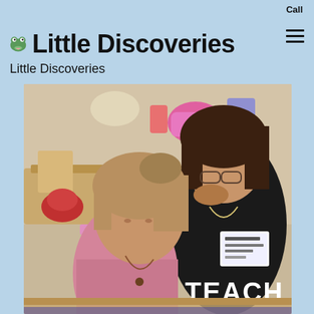Call
Little Discoveries
Little Discoveries
[Figure (photo): A female teacher with short dark hair wearing a black shirt with 'TEACH' printed on it and a name badge reading 'Ms. Brandi Site Director' leaning over a table helping a young girl with light brown hair wearing a pink shirt who is focused on an activity. The background shows a colorful classroom with toys and furniture.]